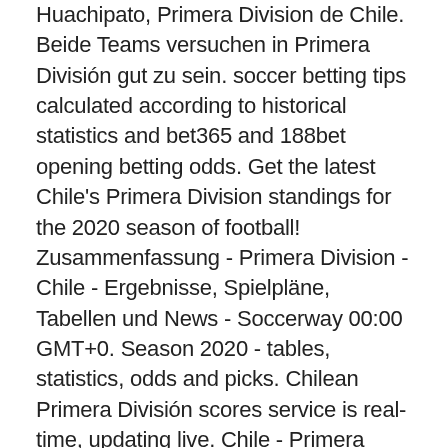Huachipato, Primera Division de Chile. Beide Teams versuchen in Primera División gut zu sein. soccer betting tips calculated according to historical statistics and bet365 and 188bet opening betting odds. Get the latest Chile's Primera Division standings for the 2020 season of football! Zusammenfassung - Primera Division - Chile - Ergebnisse, Spielpläne, Tabellen und News - Soccerway 00:00 GMT+0. Season 2020 - tables, statistics, odds and picks. Chilean Primera División scores service is real-time, updating live. Chile - Primera Division: 2019 2020 2019. Primera Division: Hier findest du die Ergebnisse nach Datum auf FT. Language. Chile Primera Division Wetten bei Interwetten » Großes Angebot an Fußball Wetten mit Top-Quoten. Out of 179 games played this season in Chile Primera, both teams scored in 97 of those games. We have the football league standings for all of the major football & soccer leagues including all of the Chile's football leagues such as the Chilean Primera Division. Visit ESPN to view the 2020-21